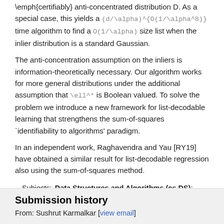\emph{certifiably} anti-concentrated distribution D. As a special case, this yields a (d/\alpha)^{O(1/\alpha^8)} time algorithm to find a O(1/\alpha) size list when the inlier distribution is a standard Gaussian.
The anti-concentration assumption on the inliers is information-theoretically necessary. Our algorithm works for more general distributions under the additional assumption that \ell^* is Boolean valued. To solve the problem we introduce a new framework for list-decodable learning that strengthens the sum-of-squares `identifiability to algorithms' paradigm.
In an independent work, Raghavendra and Yau [RY19] have obtained a similar result for list-decodable regression also using the sum-of-squares method.
| Label | Value |
| --- | --- |
| Subjects: | Data Structures and Algorithms (cs.DS); Machine Learning (cs.LG); Machine Learning (stat.ML) |
| Cite as: | arXiv:1905.05679 [cs.DS]
(or arXiv:1905.05679v1 [cs.DS] for this version)
https://doi.org/10.48550/arXiv.1905.05679 |
Submission history
From: Sushrut Karmalkar [view email]